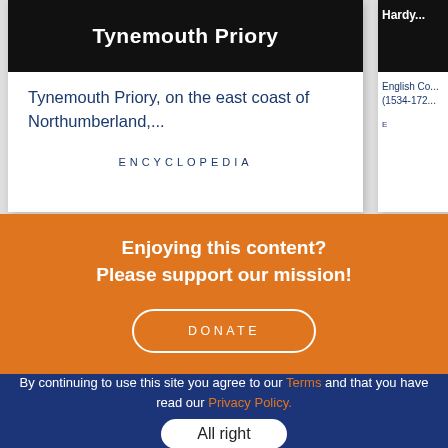[Figure (screenshot): Card with dark header showing 'Tynemouth Priory' title and description text below]
Tynemouth Priory, on the east coast of Northumberland,...
ENCYCLOPEDIA
[Figure (screenshot): Partially visible card with dark header showing 'Hardi...' title]
English Co... (1534-172...
E
Enjoying this content?
Please support our mission!
DONATE
By continuing to use this site you agree to our Terms and that you have read our Privacy Policy.
All right